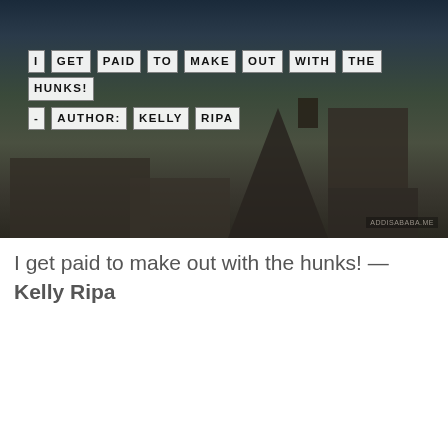[Figure (photo): Dark industrial landscape photo with an overhead crane/mining tower structure, buildings in the foreground, and a dusky sky. Overlaid with white boxed text reading 'I GET PAID TO MAKE OUT WITH THE HUNKS! - AUTHOR: KELLY RIPA' in uppercase letter boxes.]
I get paid to make out with the hunks! — Kelly Ripa